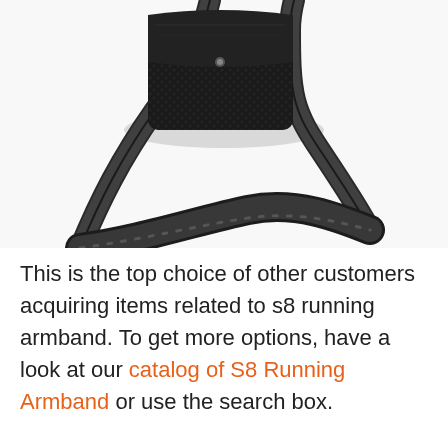[Figure (photo): A black leather crossbody bag with long strap, photographed from above on a white background. The bag body is visible at the top center, with the wide leather strap looping down and across.]
This is the top choice of other customers acquiring items related to s8 running armband. To get more options, have a look at our catalog of S8 Running Armband or use the search box.